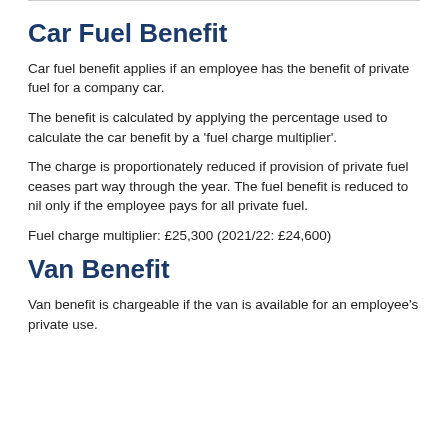Car Fuel Benefit
Car fuel benefit applies if an employee has the benefit of private fuel for a company car.
The benefit is calculated by applying the percentage used to calculate the car benefit by a 'fuel charge multiplier'.
The charge is proportionately reduced if provision of private fuel ceases part way through the year. The fuel benefit is reduced to nil only if the employee pays for all private fuel.
Fuel charge multiplier: £25,300 (2021/22: £24,600)
Van Benefit
Van benefit is chargeable if the van is available for an employee's private use.